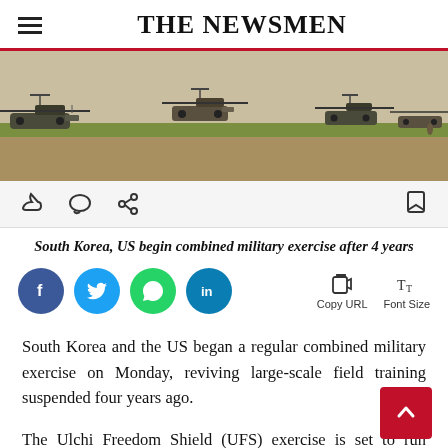THE NEWSMEN
[Figure (photo): Military helicopters lined up on a tarmac/airfield]
South Korea, US begin combined military exercise after 4 years
[Figure (infographic): Social media share buttons (Facebook, Twitter, WhatsApp, LinkedIn) and Copy URL / Font Size controls]
South Korea and the US began a regular combined military exercise on Monday, reviving large-scale field training suspended four years ago.
The Ulchi Freedom Shield (UFS) exercise is set to run through September 1, involving an array